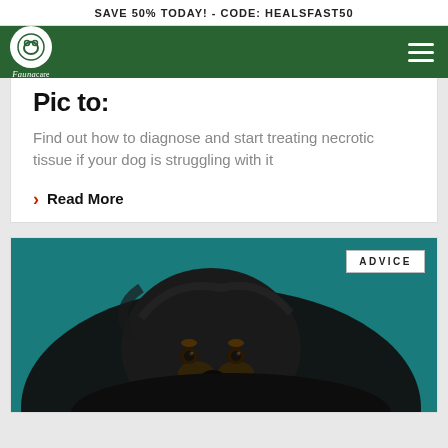SAVE 50% TODAY! - CODE: HEALSFAST50
[Figure (logo): FaunaCare logo: white circle with dog icon on dark green navigation bar]
Pic to:
Find out how to diagnose and start treating necrotic tissue if your dog is struggling with it
Read More
[Figure (photo): Black dog with brown markings lying down against a teal background, with an ADVICE badge overlay in the top right corner]